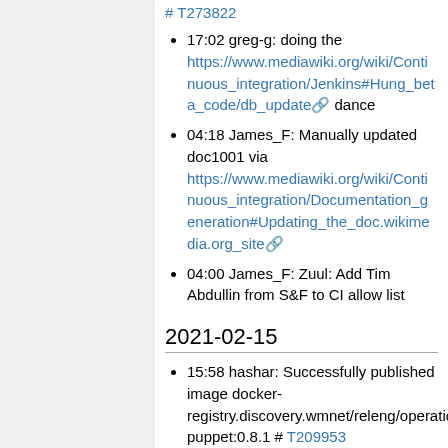# T273822
17:02 greg-g: doing the https://www.mediawiki.org/wiki/Continuous_integration/Jenkins#Hung_beta_code/db_update dance
04:18 James_F: Manually updated doc1001 via https://www.mediawiki.org/wiki/Continuous_integration/Documentation_generation#Updating_the_doc.wikimedia.org_site
04:00 James_F: Zuul: Add Tim Abdullin from S&F to CI allow list
2021-02-15
15:58 hashar: Successfully published image docker-registry.discovery.wmnet/releng/operations-puppet:0.8.1 # T209953